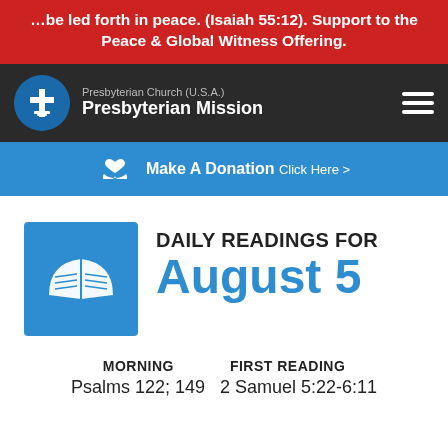…be led forth in peace. (Isaiah 55:12). Support to the Peace & Global Witness Offering.
[Figure (logo): Presbyterian Church (U.S.A.) Presbyterian Mission logo with navigation bar]
Make A Donation Click Here >
[Figure (infographic): Daily Readings for August 5 with open book icon on blue background]
MORNING   FIRST READING
Psalms 122; 149   2 Samuel 5:22-6:11